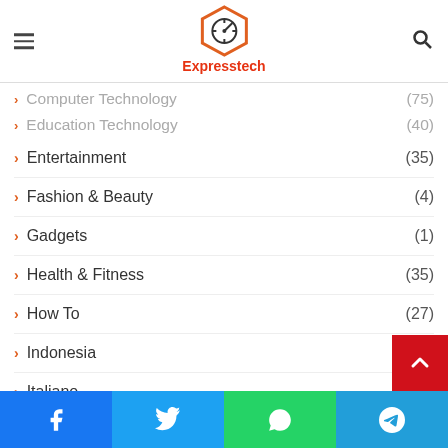Expresstech
Computer Technology (75)
Education Technology (40)
Email Marketing (50)
Entertainment (35)
Fashion & Beauty (4)
Gadgets (1)
Health & Fitness (35)
How To (27)
Indonesia (2)
Italiano (1)
Other (43)
SEO (22)
Sin categorizar